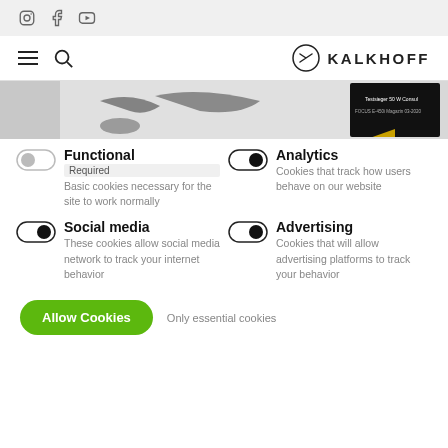Kalkhoff website header with social icons (Instagram, Facebook, YouTube), hamburger menu, search icon, and Kalkhoff logo
[Figure (photo): Partial view of a bicycle with a magazine award badge]
Functional - Required - Basic cookies necessary for the site to work normally
Analytics - Cookies that track how users behave on our website
Social media - These cookies allow social media network to track your internet behavior
Advertising - Cookies that will allow advertising platforms to track your behavior
Allow Cookies   Only essential cookies